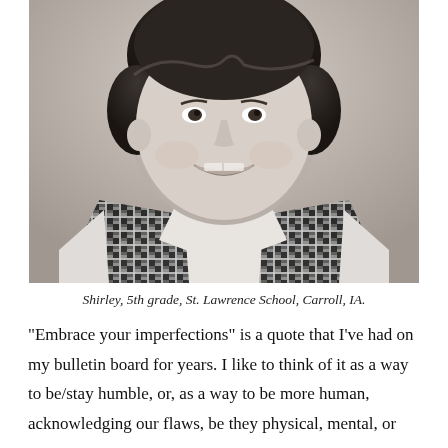[Figure (photo): Black and white school portrait photograph of a young girl (Shirley) smiling, wearing a plaid vest over a white collared shirt. The photo is cropped at approximately chest level. Vintage style, likely from the 1950s or 1960s.]
Shirley, 5th grade, St. Lawrence School, Carroll, IA.
“Embrace your imperfections” is a quote that I’ve had on my bulletin board for years. I like to think of it as a way to be/stay humble, or, as a way to be more human, acknowledging our flaws, be they physical, mental, or